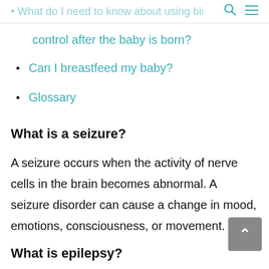how I have my baby?
What do I need to know about using birth control after the baby is born?
Can I breastfeed my baby?
Glossary
What is a seizure?
A seizure occurs when the activity of nerve cells in the brain becomes abnormal. A seizure disorder can cause a change in mood, emotions, consciousness, or movement.
What is epilepsy?